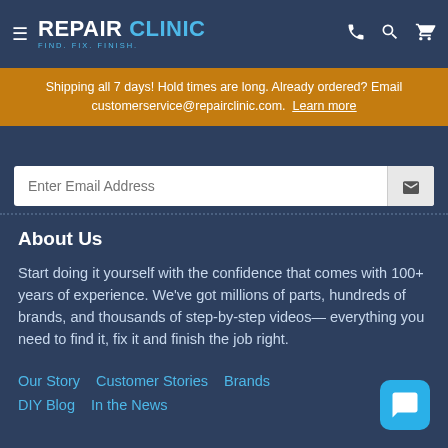REPAIR CLINIC — FIND. FIX. FINISH.
Shipping all 7 days! Hold times are long. Already ordered? Email customerservice@repairclinic.com. Learn more
Enter Email Address
About Us
Start doing it yourself with the confidence that comes with 100+ years of experience. We've got millions of parts, hundreds of brands, and thousands of step-by-step videos— everything you need to find it, fix it and finish the job right.
Our Story
Customer Stories
Brands
DIY Blog
In the News